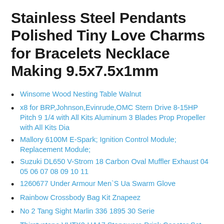Stainless Steel Pendants Polished Tiny Love Charms for Bracelets Necklace Making 9.5x7.5x1mm
Winsome Wood Nesting Table Walnut
x8 for BRP,Johnson,Evinrude,OMC Stern Drive 8-15HP Pitch 9 1/4 with All Kits Aluminum 3 Blades Prop Propeller with All Kits Dia
Mallory 6100M E-Spark; Ignition Control Module; Replacement Module;
Suzuki DL650 V-Strom 18 Carbon Oval Muffler Exhaust 04 05 06 07 08 09 10 11
1260677 Under Armour Men`S Ua Swarm Glove
Rainbow Crossbody Bag Kit Znapeez
No 2 Tang Sight Marlin 336 1895 30 Serie
Thirstystone VUTX2-HA17 Stoneware Drink Coaster Set with Holder University of Texas Dots
Solar System Universe Jewelry Ask a question Nebula Space